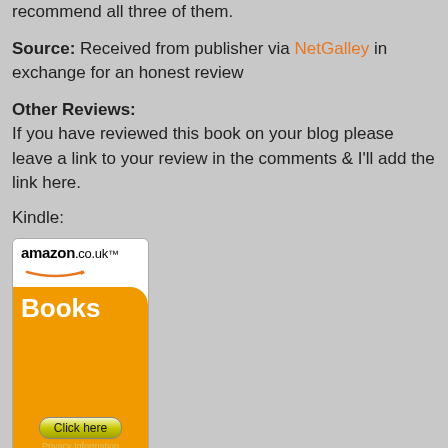recommend all three of them.
Source: Received from publisher via NetGalley in exchange for an honest review
Other Reviews:
If you have reviewed this book on your blog please leave a link to your review in the comments & I'll add the link here.
Kindle:
[Figure (other): Amazon.co.uk Books banner ad with orange background, 'Click here' button, and Privacy Information text]